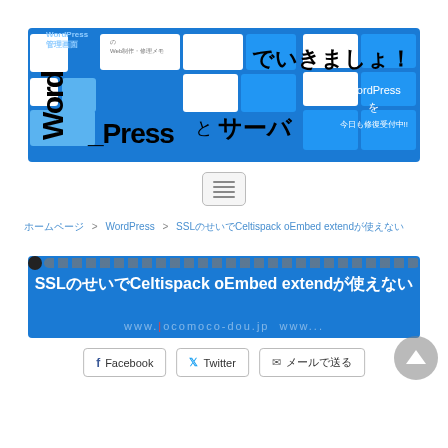[Figure (screenshot): WordPress blog banner with blue tiles, Japanese text reading 'WordPressとサーバでいきましょ！' and 'Word_Press']
[Figure (other): Hamburger menu button icon]
ホームページ > WordPress > SSLのせいでCeltispack oEmbed extendが使えない
[Figure (screenshot): Article header banner: 'SSLのせいでCeltispack oEmbed extendが使えない' on blue background with URL www.locomoco-dou.jp]
Facebook  Twitter  メールで送る